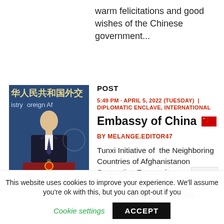warm felicitations and good wishes of the Chinese government...
[Figure (photo): A Chinese government official standing at a podium with the Chinese Ministry of Foreign Affairs seal, in front of a blue background with Chinese characters]
POST
5:49 PM - APRIL 5, 2022 (TUESDAY) | DIPLOMATIC ENCLAVE, INTERNATIONAL
Embassy of China 🇨🇳
BY MELANGE.EDITOR47
Tunxi Initiative of the Neighboring Countries of Afghanistanon Supporting Economic Reconstruction in and Practical Cooperation with Afghanista... The
This website uses cookies to improve your experience. We'll assume you're ok with this, but you can opt-out if you
Cookie settings
ACCEPT